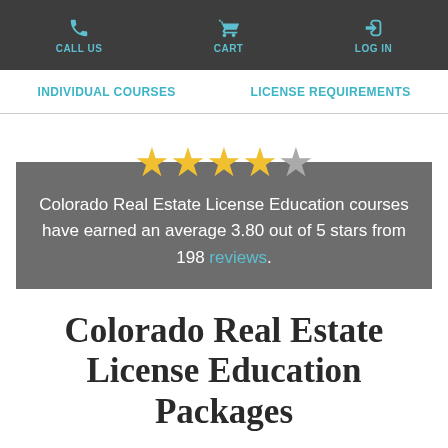CALL US  CART  LOG IN
INDIVIDUAL COURSES  LICENSE REQUIREMENTS
Colorado Real Estate License Education courses have earned an average 3.80 out of 5 stars from 198 reviews.
Colorado Real Estate License Education Packages
Earn a Colorado real estate license when you complete pre-licensing courses with Real Estate Express. With multiple ways to learn online —